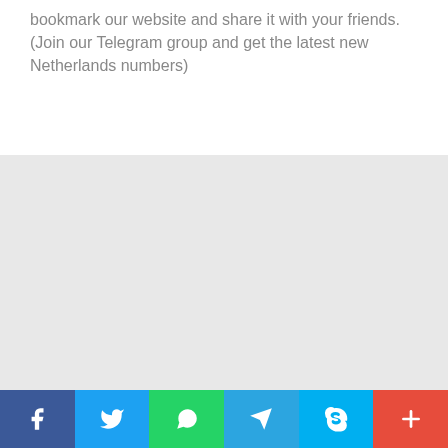bookmark our website and share it with your friends. (Join our Telegram group and get the latest new Netherlands numbers)
[Figure (other): Large gray empty area, likely a placeholder for an image or advertisement]
Social share buttons: Facebook, Twitter, WhatsApp, Telegram, Skype, More